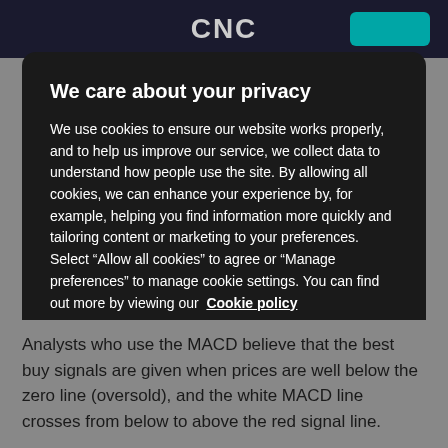We care about your privacy
We use cookies to ensure our website works properly, and to help us improve our service, we collect data to understand how people use the site. By allowing all cookies, we can enhance your experience by, for example, helping you find information more quickly and tailoring content or marketing to your preferences. Select “Allow all cookies” to agree or “Manage preferences” to manage cookie settings. You can find out more by viewing our Cookie policy
MANAGE PREFERENCES
ALLOW ALL COOKIES
Analysts who use the MACD believe that the best buy signals are given when prices are well below the zero line (oversold), and the white MACD line crosses from below to above the red signal line.